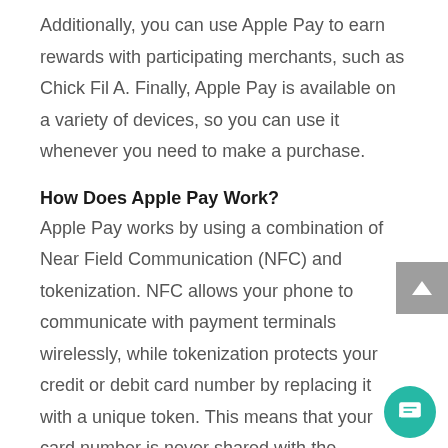Additionally, you can use Apple Pay to earn rewards with participating merchants, such as Chick Fil A. Finally, Apple Pay is available on a variety of devices, so you can use it whenever you need to make a purchase.
How Does Apple Pay Work?
Apple Pay works by using a combination of Near Field Communication (NFC) and tokenization. NFC allows your phone to communicate with payment terminals wirelessly, while tokenization protects your credit or debit card number by replacing it with a unique token. This means that your card number is never shared with the merchant when you use Apple Pay, making it